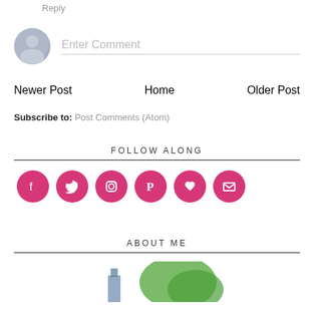Reply
Enter Comment
Newer Post
Home
Older Post
Subscribe to: Post Comments (Atom)
FOLLOW ALONG
[Figure (infographic): Six pink circular social media icons: Facebook, Twitter, Instagram, Pinterest, heart/Bloglovin, and email envelope]
ABOUT ME
[Figure (photo): Partial view of a person outdoors with greenery, cropped at bottom of page]